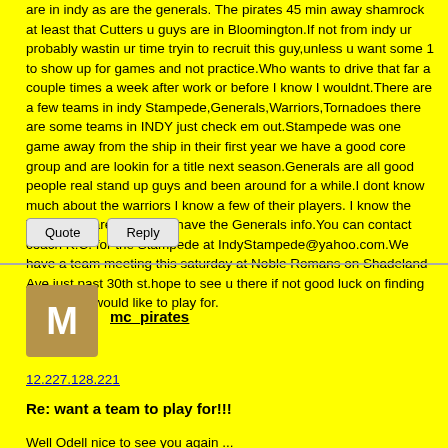are in indy as are the generals. The pirates 45 min away shamrock at least that Cutters u guys are in Bloomington.If not from indy ur probably wastin ur time tryin to recruit this guy,unless u want some 1 to show up for games and not practice.Who wants to drive that far a couple times a week after work or before I know I wouldnt.There are a few teams in indy Stampede,Generals,Warriors,Tornadoes there are some teams in INDY just check em out.Stampede was one game away from the ship in their first year we have a good core group and are lookin for a title next season.Generals are all good people real stand up guys and been around for a while.I dont know much about the warriors I know a few of their players. I know the Tornadoes are good.You have the Generals info.You can contact coach K.C. for the Stampede at IndyStampede@yahoo.com.We have a team meeting this saturday at Noble Romans on Shadeland Ave just past 30th st.hope to see u there if not good luck on finding the team u would like to play for.
Quote | Reply
[Figure (other): User avatar with letter M on brown background]
mc_pirates
12.227.128.221
Re: want a team to play for!!!
Well Odell nice to see you again ...